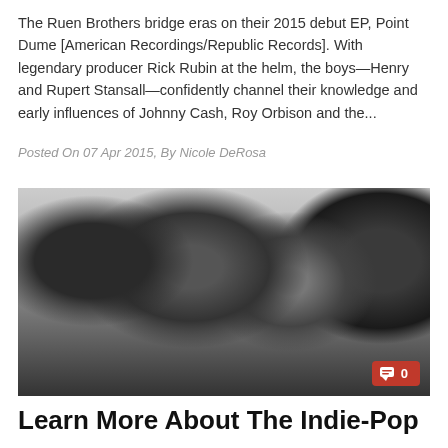The Ruen Brothers bridge eras on their 2015 debut EP, Point Dume [American Recordings/Republic Records]. With legendary producer Rick Rubin at the helm, the boys—Henry and Rupert Stansall—confidently channel their knowledge and early influences of Johnny Cash, Roy Orbison and the...
Posted On 07 Apr 2015, By Nicole DeRosa
[Figure (photo): Black and white photo of four young people (a band) posing closely together against a light background, with a red comment badge showing '0' in the bottom right corner.]
Learn More About The Indie-Pop